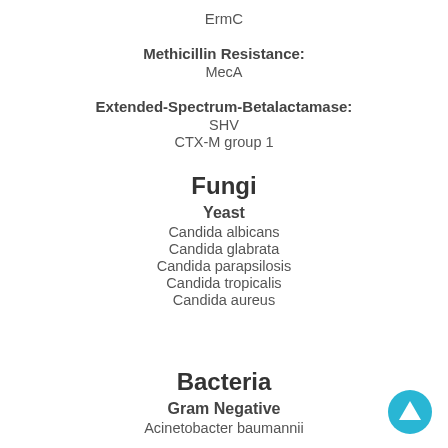ErmC
Methicillin Resistance:
MecA
Extended-Spectrum-Betalactamase:
SHV
CTX-M group 1
Fungi
Yeast
Candida albicans
Candida glabrata
Candida parapsilosis
Candida tropicalis
Candida aureus
Bacteria
Gram Negative
Acinetobacter baumannii